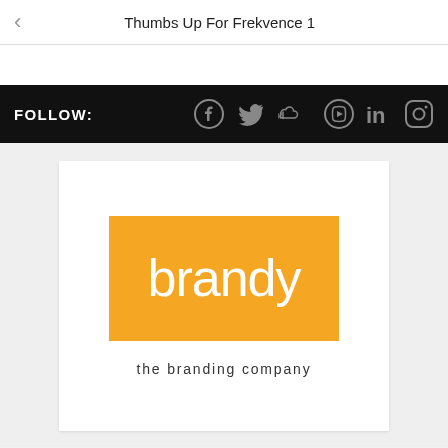Thumbs Up For Frekvence 1
FOLLOW:
[Figure (logo): Brandy - the branding company logo. Orange rectangle background with white lowercase 'brandy' text, and tagline 'the branding company' below in dark gray.]